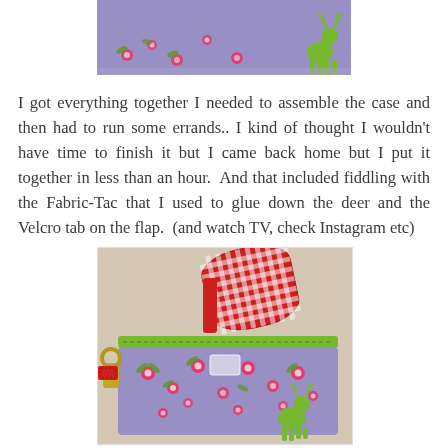[Figure (photo): Top portion of a lavender floral fabric pouch with green deer decoration, cropped at top]
I got everything together I needed to assemble the case and then had to run some errands.. I kind of thought I wouldn't have time to finish it but I came back home but I put it together in less than an hour.  And that included fiddling with the Fabric-Tac that I used to glue down the deer and the Velcro tab on the flap.  (and watch TV, check Instagram etc)
[Figure (photo): Completed lavender floral fabric pouch/case with green trim, red gingham contents visible at top, green deer applique on front, metal clip on side, sitting on beige textured surface]